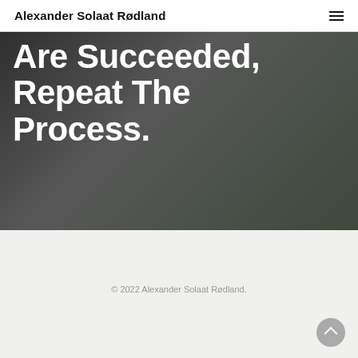Alexander Solaat Rødland
[Figure (photo): A person wearing sunglasses and a dark jacket, photographed outdoors with a blurred background of trees and buildings. The image serves as a hero background.]
Are Succeeded, Repeat The Process.
© 2022 Alexander Solaat Rødland.